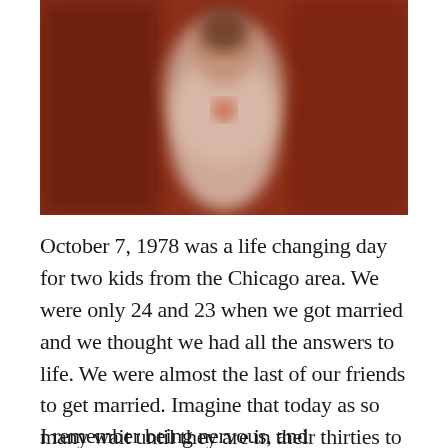[Figure (photo): A blurred vintage photograph showing a person in a white dress or outfit against a warm reddish-brown background, possibly a wedding photo from 1978.]
October 7, 1978 was a life changing day for two kids from the Chicago area. We were only 24 and 23 when we got married and we thought we had all the answers to life. We were almost the last of our friends to get married. Imagine that today as so many wait until they are in their thirties to walk down the aisle.
I remember being nervous, and